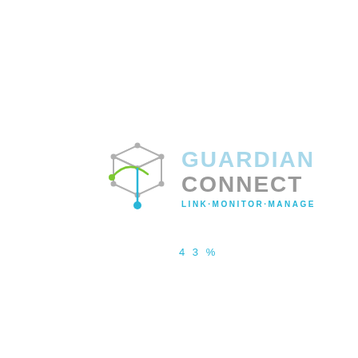[Figure (logo): Guardian Connect logo: a stylized 3D cube/network icon with gray edges, a blue hanging node at bottom, and a green arc/checkmark across the middle, followed by the text GUARDIAN CONNECT with tagline LINK·MONITOR·MANAGE]
43%